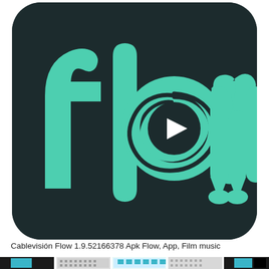[Figure (logo): Cablevisión Flow app logo: dark rounded-square background (#1a2226) with large teal/mint green word 'flow' in bold rounded letters. The 'o' contains a circular swirl design with a white play button triangle in the center.]
Cablevisión Flow 1.9.52166378 Apk Flow, App, Film music
[Figure (screenshot): Row of small thumbnail images at the bottom of the page showing various app screenshots with cyan/teal and dark colors.]